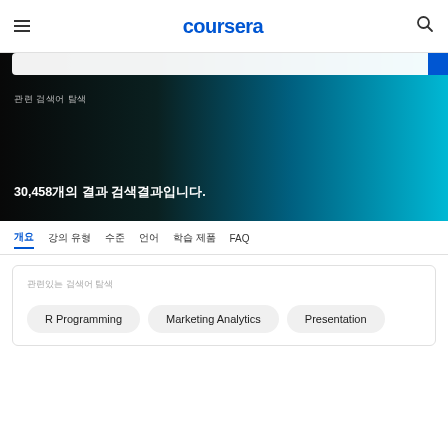coursera
[Figure (screenshot): Coursera hero banner with dark-to-teal gradient background, search bar at top, Korean text label, and bold text '30,458개의 결과 검색결과입니다.']
30,458개의 결과 검색결과입니다.
개요
강의 유형
수준
언어
학습 제품
FAQ
관련있는 검색어 탐색
R Programming
Marketing Analytics
Presentation